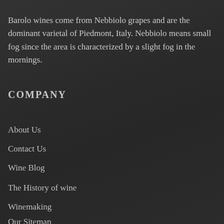Barolo wines come from Nebbiolo grapes and are the dominant varietal of Piedmont, Italy. Nebbiolo means small fog since the area is characterized by a slight fog in the mornings.
COMPANY
About Us
Contact Us
Wine Blog
The History of wine
Winemaking
Our Sitemap